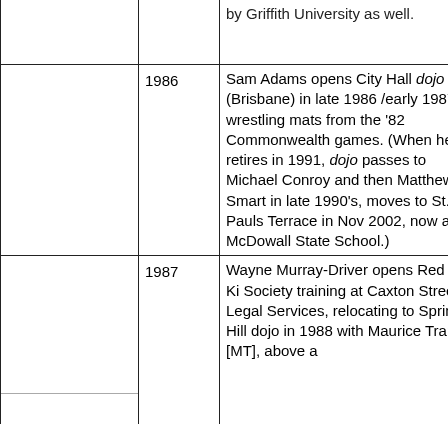|  | Year | Description |
| --- | --- | --- |
|  |  | by Griffith University as well. |
|  | 1986 | Sam Adams opens City Hall dojo (Brisbane) in late 1986 /early 1987 on wrestling mats from the '82 Commonwealth games. (When he retires in 1991, dojo passes to Michael Conroy and then Matthew Smart in late 1990's, moves to St. Pauls Terrace in Nov 2002, now at McDowall State School.) |
|  | 1987 | Wayne Murray-Driver opens Red Hill Ki Society training at Caxton Street Legal Services, relocating to Spring Hill dojo in 1988 with Maurice Trapp [MT], above a |